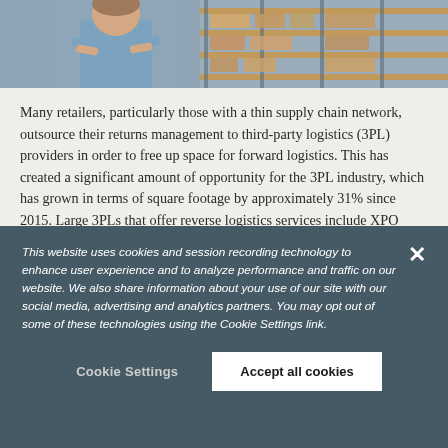[Figure (photo): Partial view of a warehouse scene, showing a person in a blue shirt with arms crossed and shelving with boxes in the background.]
Many retailers, particularly those with a thin supply chain network, outsource their returns management to third-party logistics (3PL) providers in order to free up space for forward logistics. This has created a significant amount of opportunity for the 3PL industry, which has grown in terms of square footage by approximately 31% since 2015. Large 3PLs that offer reverse logistics services include XPO Logistics, Ryder and NFI.
This website uses cookies and session recording technology to enhance user experience and to analyze performance and traffic on our website. We also share information about your use of our site with our social media, advertising and analytics partners. You may opt out of some of these technologies using the Cookie Settings link.
Cookie Settings
Accept all cookies